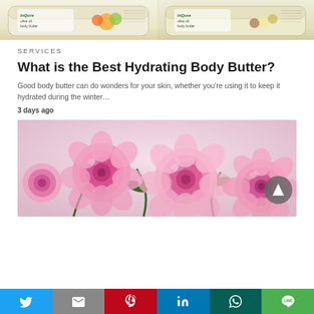[Figure (photo): Two product jars of InQore olive oil body butter, one with peach/mango fruits and one with vanilla/flower, partially visible at top of page]
SERVICES
What is the Best Hydrating Body Butter?
Good body butter can do wonders for your skin, whether you're using it to keep it hydrated during the winter…
3 days ago
[Figure (photo): Pink roses bouquet on light background]
Twitter | Gmail | Pinterest | LinkedIn | WhatsApp | LINE share buttons